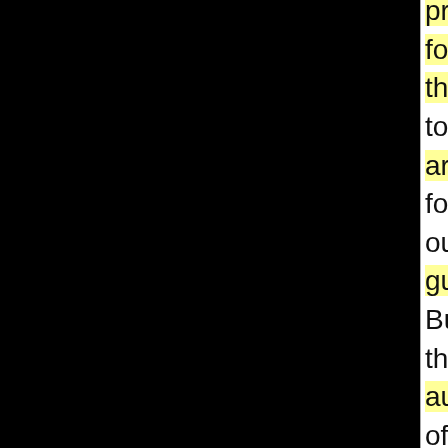pretext for them to argue for our guilt. But the author of the prosecution document, Giovanni Galati, chose not to dwell on such ironies. Instead